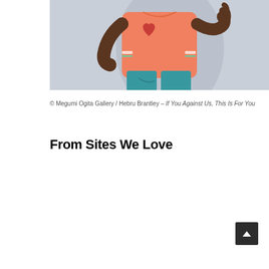[Figure (illustration): Illustration of a dark-skinned person in a salmon/orange short-sleeve shirt and teal pants, making a pointing gesture upward with one finger. A shadow is cast behind them. Partial view showing torso and hand.]
© Megumi Ogita Gallery / Hebru Brantley – If You Against Us, This Is For You
From Sites We Love